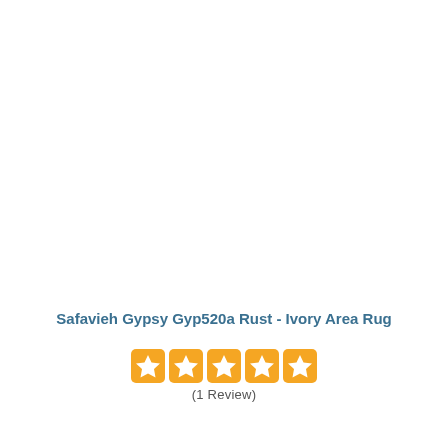Safavieh Gypsy Gyp520a Rust - Ivory Area Rug
(1 Review)